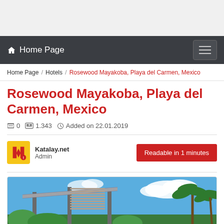Home Page (navigation bar)
Home Page / Hotels / Rosewood Mayakoba, Playa del Carmen, Mexico
Rosewood Mayakoba, Playa del Carmen, Mexico
0   1.343   Added on 22.01.2019
Katalay.net
Admin
Readable in 1 minutes
[Figure (photo): Exterior photo of Rosewood Mayakoba resort showing modern architecture with louvered roof structure, palm trees, and blue sky with white clouds]